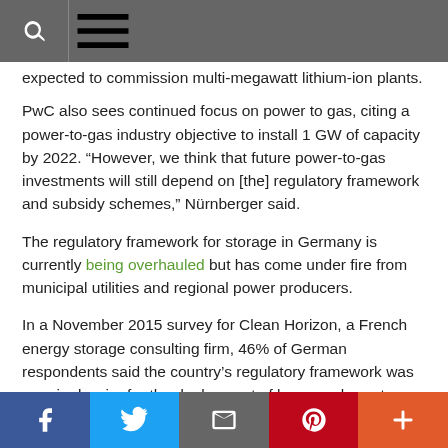[Navigation bar with search and menu icons]
expected to commission multi-megawatt lithium-ion plants.
PwC also sees continued focus on power to gas, citing a power-to-gas industry objective to install 1 GW of capacity by 2022. “However, we think that future power-to-gas investments will still depend on [the] regulatory framework and subsidy schemes,” Nürnberger said.
The regulatory framework for storage in Germany is currently being overhauled but has come under fire from municipal utilities and regional power producers.
In a November 2015 survey for Clean Horizon, a French energy storage consulting firm, 46% of German respondents said the country’s regulatory framework was a major barrier for the deployment of large-scale systems.
At the same time, though, 63% said storage would become more
[Social share bar: Facebook, Twitter, Email, Pinterest, More]